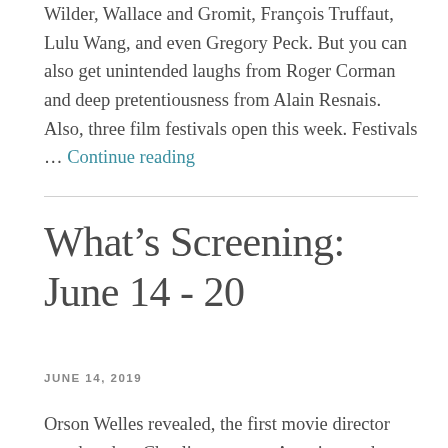Wilder, Wallace and Gromit, François Truffaut, Lulu Wang, and even Gregory Peck. But you can also get unintended laughs from Roger Corman and deep pretentiousness from Alain Resnais. Also, three film festivals open this week. Festivals … Continue reading
What's Screening: June 14 - 20
JUNE 14, 2019
Orson Welles revealed, the first movie director gets her due, Chaplin comes to America, and